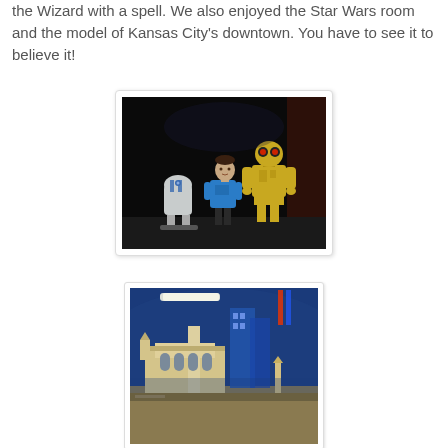the Wizard with a spell. We also enjoyed the Star Wars room and the model of Kansas City's downtown. You have to see it to believe it!
[Figure (photo): A child standing between R2-D2 and C-3PO Star Wars character figures/costumes in a dark exhibit room.]
[Figure (photo): A detailed LEGO model of Kansas City's downtown skyline, showing miniature buildings and streets under exhibit lighting.]